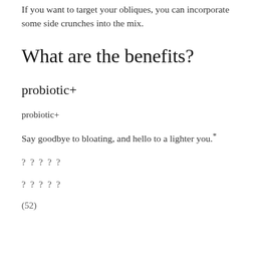If you want to target your obliques, you can incorporate some side crunches into the mix.
What are the benefits?
probiotic+
probiotic+
Say goodbye to bloating, and hello to a lighter you.*
?????
?????
(52)